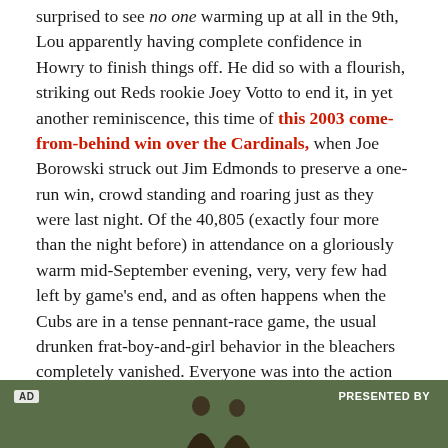surprised to see no one warming up at all in the 9th, Lou apparently having complete confidence in Howry to finish things off. He did so with a flourish, striking out Reds rookie Joey Votto to end it, in yet another reminiscence, this time of this 2003 come-from-behind win over the Cardinals, when Joe Borowski struck out Jim Edmonds to preserve a one-run win, crowd standing and roaring just as they were last night. Of the 40,805 (exactly four more than the night before) in attendance on a gloriously warm mid-September evening, very, very few had left by game's end, and as often happens when the Cubs are in a tense pennant-race game, the usual drunken frat-boy-and-girl behavior in the bleachers completely vanished. Everyone was into the action on the field.
[Figure (other): Advertisement banner with 'AD' label, 'PRESENTED BY' text, and partial image of figures on a dark green background]